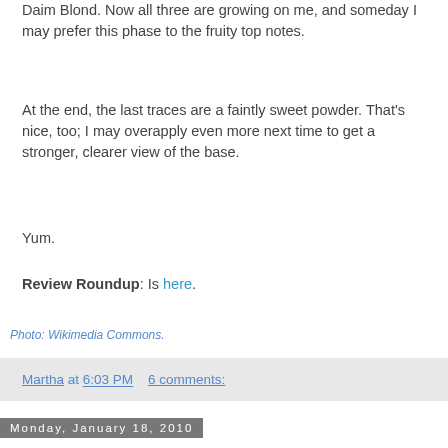Daim Blond. Now all three are growing on me, and someday I may prefer this phase to the fruity top notes.
At the end, the last traces are a faintly sweet powder. That's nice, too; I may overapply even more next time to get a stronger, clearer view of the base.
Yum.
Review Roundup: Is here.
Photo: Wikimedia Commons.
Martha at 6:03 PM    6 comments:
Monday, January 18, 2010
SOTD: Hugo Boss Boss Woman